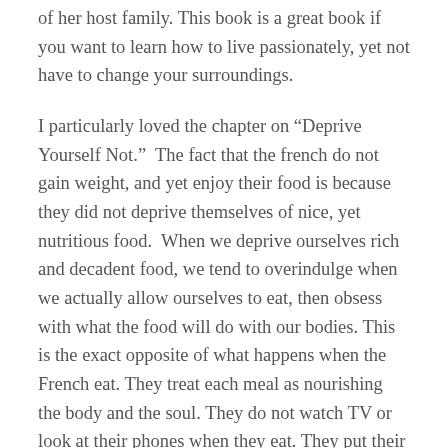of her host family. This book is a great book if you want to learn how to live passionately, yet not have to change your surroundings.
I particularly loved the chapter on “Deprive Yourself Not.”  The fact that the french do not gain weight, and yet enjoy their food is because they did not deprive themselves of nice, yet nutritious food.  When we deprive ourselves rich and decadent food, we tend to overindulge when we actually allow ourselves to eat, then obsess with what the food will do with our bodies. This is the exact opposite of what happens when the French eat. They treat each meal as nourishing the body and the soul. They do not watch TV or look at their phones when they eat. They put their full attention into eating and engaging with others around them. They did this  for every single meal, breakfast, lunch, and dinner, with perfect posture, napkin on lap, and knife and fork in hand. I don’t think I have ever